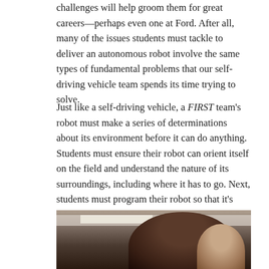challenges will help groom them for great careers—perhaps even one at Ford. After all, many of the issues students must tackle to deliver an autonomous robot involve the same types of fundamental problems that our self-driving vehicle team spends its time trying to solve.
Just like a self-driving vehicle, a FIRST team's robot must make a series of determinations about its environment before it can do anything. Students must ensure their robot can orient itself on the field and understand the nature of its surroundings, including where it has to go. Next, students must program their robot so that it's able to identify obstacles in its way and figure out how to navigate the field to accomplish its tasks. Then it needs to be able to execute those tasks while avoiding any unforeseen hazards that might pop up.
[Figure (photo): A photograph showing people in what appears to be a classroom or workshop setting, with ceiling lights visible in the background.]